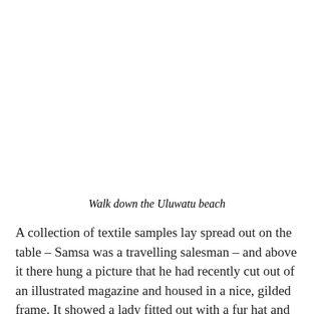Walk down the Uluwatu beach
A collection of textile samples lay spread out on the table – Samsa was a travelling salesman – and above it there hung a picture that he had recently cut out of an illustrated magazine and housed in a nice, gilded frame. It showed a lady fitted out with a fur hat and fur boa who sat upright, raising a heavy fur muff that covered the whole of